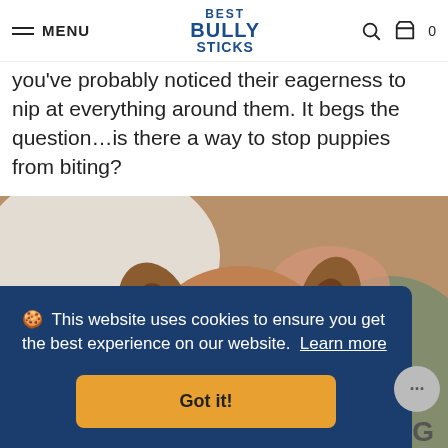MENU | BEST BULLY STICKS | 0
you've probably noticed their eagerness to nip at everything around them. It begs the question…is there a way to stop puppies from biting?
[Figure (photo): A small brown fluffy dog (Chihuahua mix) being held by a person's hands, mouth open showing teeth, appearing to bite or nip playfully.]
🍪 This website uses cookies to ensure you get the best experience on our website. Learn more
Got it!